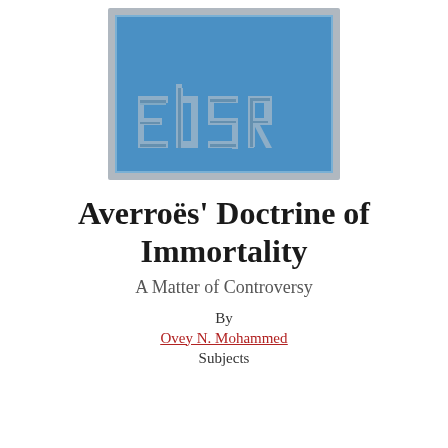[Figure (logo): EDSR publisher logo — a blue square with a silver/grey border containing the stylized letters 'EdSR' in a grey geometric/decorative font on a blue background.]
Averroës' Doctrine of Immortality
A Matter of Controversy
By
Ovey N. Mohammed
Subjects